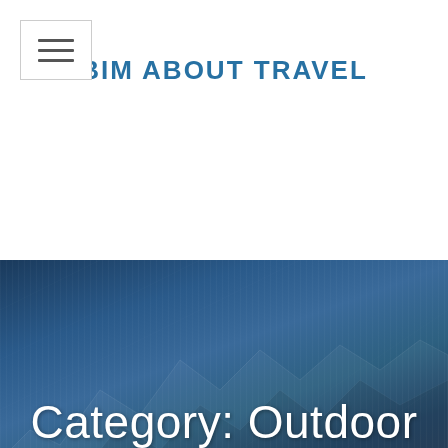BIM ABOUT TRAVEL
Category: Outdoor
[Figure (illustration): Hero banner with dark blue mountain landscape background and overlaid text 'Category: Outdoor'. A scroll-to-top button is in the bottom right corner.]